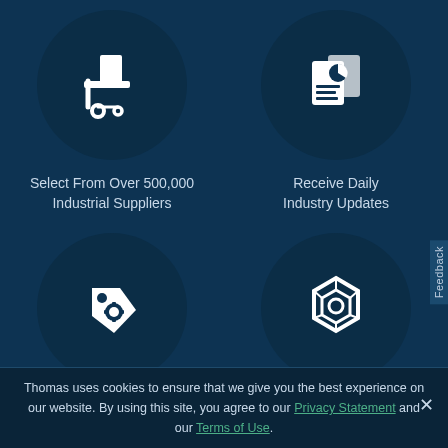[Figure (illustration): Circular icon of a hand truck with a box on a dark blue circle background]
Select From Over 500,000 Industrial Suppliers
[Figure (illustration): Circular icon of a document with a chart on a dark blue circle background]
Receive Daily Industry Updates
[Figure (illustration): Circular icon of a price tag with a gear on a dark blue circle background]
[Figure (illustration): Circular icon of a 3D part/CAD model on a dark blue circle background]
Feedback
Thomas uses cookies to ensure that we give you the best experience on our website. By using this site, you agree to our Privacy Statement and our Terms of Use.